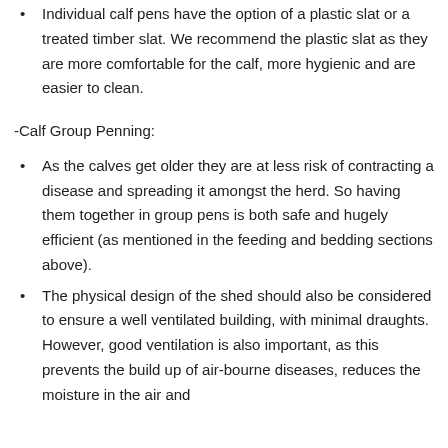Individual calf pens have the option of a plastic slat or a treated timber slat. We recommend the plastic slat as they are more comfortable for the calf, more hygienic and are easier to clean.
-Calf Group Penning:
As the calves get older they are at less risk of contracting a disease and spreading it amongst the herd. So having them together in group pens is both safe and hugely efficient (as mentioned in the feeding and bedding sections above).
The physical design of the shed should also be considered to ensure a well ventilated building, with minimal draughts. However, good ventilation is also important, as this prevents the build up of air-bourne diseases, reduces the moisture in the air and